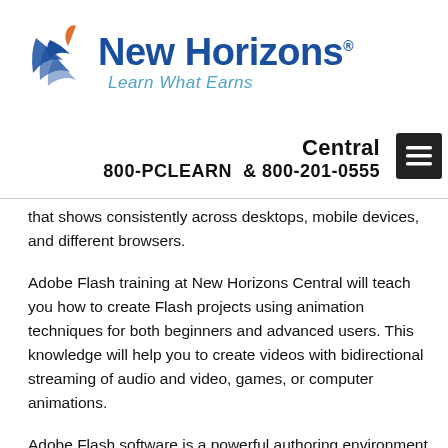[Figure (logo): New Horizons logo with stylized wing/book icon, text 'New Horizons' in dark blue and tagline 'Learn What Earns' in light blue italic]
Central
800-PCLEARN  & 800-201-0555
that shows consistently across desktops, mobile devices, and different browsers.
Adobe Flash training at New Horizons Central will teach you how to create Flash projects using animation techniques for both beginners and advanced users. This knowledge will help you to create videos with bidirectional streaming of audio and video, games, or computer animations.
Adobe Flash software is a powerful authoring environment for creating animation and multimedia content. Design immersive and